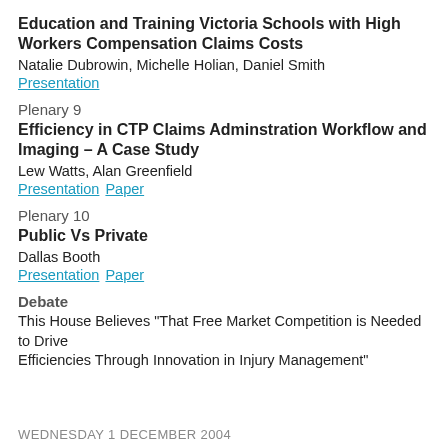Education and Training Victoria Schools with High Workers Compensation Claims Costs
Natalie Dubrowin, Michelle Holian, Daniel Smith
Presentation
Plenary 9
Efficiency in CTP Claims Adminstration Workflow and Imaging – A Case Study
Lew Watts, Alan Greenfield
Presentation Paper
Plenary 10
Public Vs Private
Dallas Booth
Presentation Paper
Debate
This House Believes "That Free Market Competition is Needed to Drive
Efficiencies Through Innovation in Injury Management"
WEDNESDAY 1 DECEMBER 2004